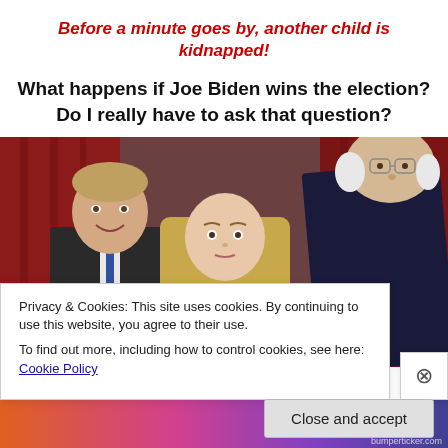Before a minute goes by, another child is kidnapped!
What happens if Joe Biden wins the election? Do I really have to ask that question?
[Figure (photo): Photo showing a man in a dark suit leaning toward a young woman with long blonde hair, with another man in a suit smiling in the background, red curtains visible behind them.]
Privacy & Cookies: This site uses cookies. By continuing to use this website, you agree to their use.
To find out more, including how to control cookies, see here: Cookie Policy
Close and accept